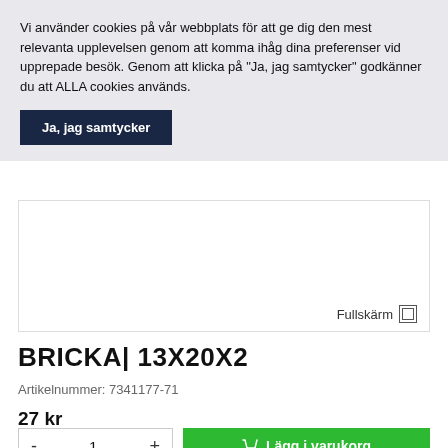Vi använder cookies på vår webbplats för att ge dig den mest relevanta upplevelsen genom att komma ihåg dina preferenser vid upprepade besök. Genom att klicka på "Ja, jag samtycker" godkänner du att ALLA cookies används.
Ja, jag samtycker
[Figure (photo): Product image area with Fullskärm (fullscreen) button]
BRICKA| 13X20X2
Artikelnummer: 7341177-71
27 kr
- 1 +
Lägg i varukorg